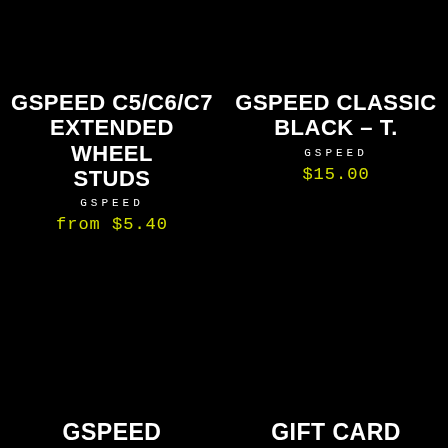GSPEED C5/C6/C7 EXTENDED WHEEL STUDS
GSPEED
from $5.40
GSPEED CLASSIC BLACK – T.
GSPEED
$15.00
GSPEED
GIFT CARD